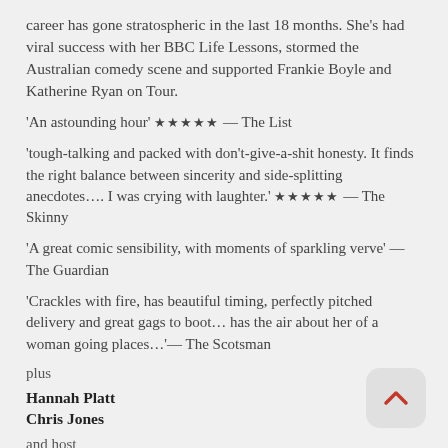career has gone stratospheric in the last 18 months. She's had viral success with her BBC Life Lessons, stormed the Australian comedy scene and supported Frankie Boyle and Katherine Ryan on Tour.
'An astounding hour' ★★★★★ — The List
'tough-talking and packed with don't-give-a-shit honesty. It finds the right balance between sincerity and side-splitting anecdotes…. I was crying with laughter.' ★★★★★ — The Skinny
'A great comic sensibility, with moments of sparkling verve' — The Guardian
'Crackles with fire, has beautiful timing, perfectly pitched delivery and great gags to boot… has the air about her of a woman going places…'— The Scotsman
plus
Hannah Platt
Chris Jones
and host